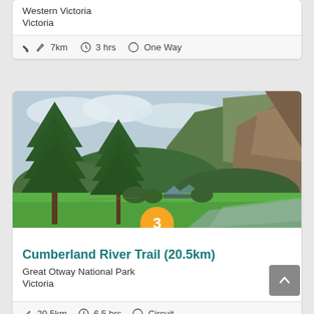Western Victoria
Victoria
✏ 7km  🕐 3 hrs  ○ One Way
[Figure (photo): Outdoor landscape with large pine trees, lush green campground area, tents in background, and steep forested rocky cliff/mountain in background under cloudy sky.]
Cumberland River Trail (20.5km)
Great Otway National Park
Victoria
✏ 20.5km  🕐 6.5 hrs  ○ Circuit